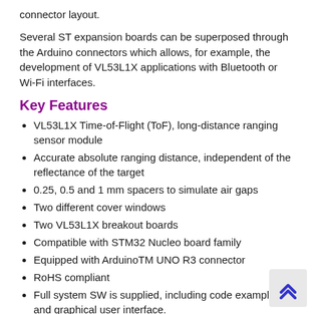connector layout.
Several ST expansion boards can be superposed through the Arduino connectors which allows, for example, the development of VL53L1X applications with Bluetooth or Wi-Fi interfaces.
Key Features
VL53L1X Time-of-Flight (ToF), long-distance ranging sensor module
Accurate absolute ranging distance, independent of the reflectance of the target
0.25, 0.5 and 1 mm spacers to simulate air gaps
Two different cover windows
Two VL53L1X breakout boards
Compatible with STM32 Nucleo board family
Equipped with ArduinoTM UNO R3 connector
RoHS compliant
Full system SW is supplied, including code examples and graphical user interface.